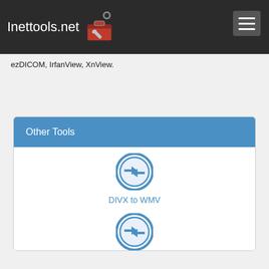Inettools.net
ezDICOM, IrfanView, XnView.
Other Tools
[Figure (illustration): Circular conversion icon with two horizontal arrows pointing in opposite directions, in blue]
DIVX to WMV
[Figure (illustration): Circular conversion icon with two horizontal arrows pointing in opposite directions, in blue]
CR2 to MEF
[Figure (illustration): Circular conversion icon with two horizontal arrows pointing in opposite directions, in blue]
MP2 to MMF